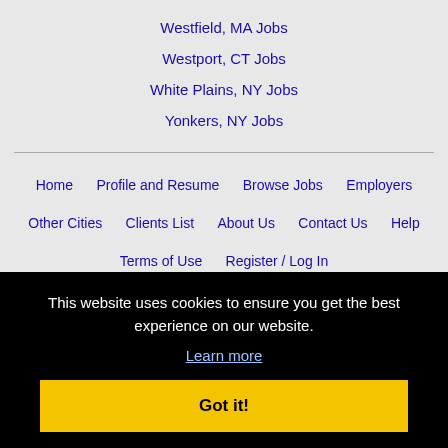Westfield, MA Jobs
Westport, CT Jobs
White Plains, NY Jobs
Yonkers, NY Jobs
Home · Profile and Resume · Browse Jobs · Employers · Other Cities · Clients List · About Us · Contact Us · Help · Terms of Use · Register / Log In
This website uses cookies to ensure you get the best experience on our website. Learn more Got it!